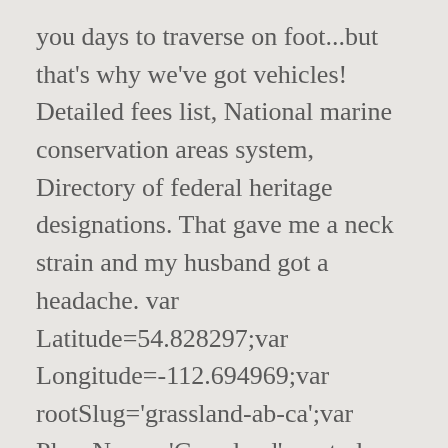you days to traverse on foot...but that's why we've got vehicles! Detailed fees list, National marine conservation areas system, Directory of federal heritage designations. That gave me a neck strain and my husband got a headache. var Latitude=54.828297;var Longitude=-112.694969;var rootSlug='grassland-ab-ca';var PlaceName='Grassland';var today = new Date();var dd = String(today.getDate()+2).padStart(2, '0');var mm = String(today.getMonth() + 1).padStart(2, '0');var yyyy = today.getFullYear();today= yyyy + '-' + mm + '-' + dd; The best times to visit Grassland for ideal weather are. "The best was